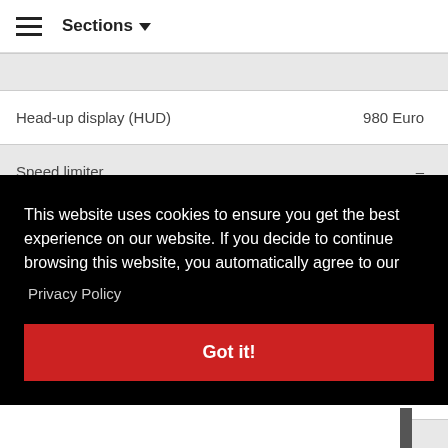Sections
| Feature | Price |
| --- | --- |
| Head-up display (HUD) | 980 Euro |
| Speed limiter | – |
| High-beam assistant | 130 Euro |
This website uses cookies to ensure you get the best experience on our website. If you decide to continue browsing this website, you automatically agree to our
Privacy Policy
Got it!
weit für